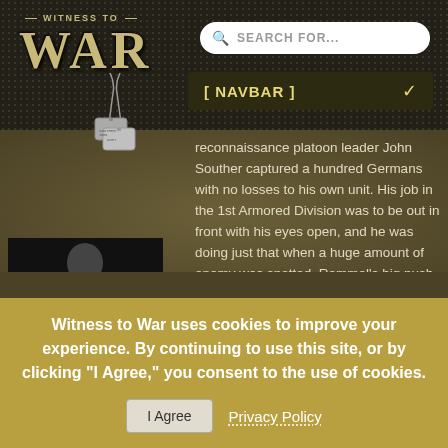WITNESS TO WAR
[ NAVBAR ]
reconnaissance platoon leader John Souther captured a hundred Germans with no losses to his own unit. His job in the 1st Armored Division was to be out in front with his eyes open, and he was doing just that when a huge amount of enemy was spotted. Rommel's big push had begun.
WES RUTH · NAVY
+6 Total Videos
Witness to War uses cookies to improve your experience. By continuing to use this site, or by clicking "I Agree," you consent to the use of cookies.
I Agree
Privacy Policy